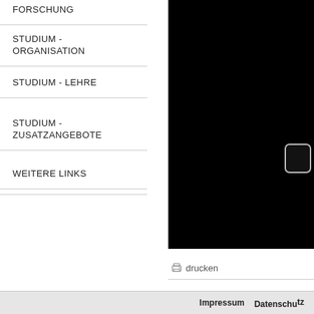FORSCHUNG
STUDIUM - ORGANISATION
STUDIUM - LEHRE
STUDIUM - ZUSATZANGEBOTE
WEITERE LINKS
[Figure (screenshot): Black video player or image area with a partially visible rounded-rectangle button on the right edge]
drucken
Impressum   Datenschutz